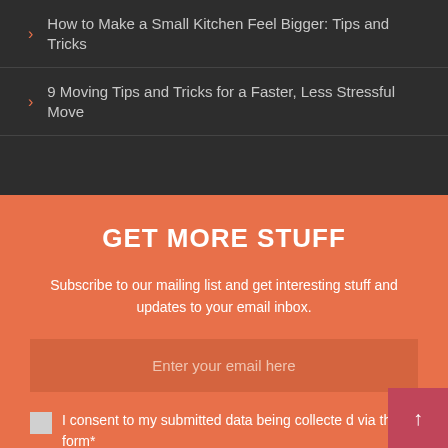How to Make a Small Kitchen Feel Bigger: Tips and Tricks
9 Moving Tips and Tricks for a Faster, Less Stressful Move
GET MORE STUFF
Subscribe to our mailing list and get interesting stuff and updates to your email inbox.
Enter your email here
I consent to my submitted data being collected via this form*